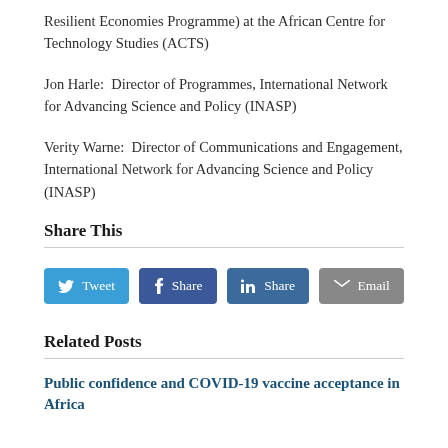Resilient Economies Programme) at the African Centre for Technology Studies (ACTS)
Jon Harle:  Director of Programmes, International Network for Advancing Science and Policy (INASP)
Verity Warne:  Director of Communications and Engagement, International Network for Advancing Science and Policy (INASP)
Share This
[Figure (other): Social share buttons: Tweet (Twitter/blue), Share (Facebook/dark blue), Share (LinkedIn/steel blue), Email (grey)]
Related Posts
Public confidence and COVID-19 vaccine acceptance in Africa